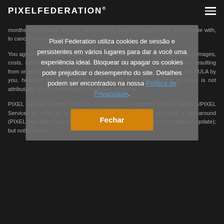PIXELFEDERATION®
months might assert a claim, acknowledging such time periods for any dispute with, to cancel your Account.
You agree to indemnify, defend PIXEL harmless from any claim, demand, damages, costs, including reasonable attorneys' fees, asserted by any third-party resulting from or arising out of your use of the PIXEL Services, or any breach of this EULA by you, however the foregoing does not apply if the infringement of rights is not attributable to your intentional or negligent behavior.
PIXEL will use its best efforts to investigate any reported bugs in GAMES/PIXEL Services as soon as is practical and to repair such bug or create a workaround (PIXEL may delay repairing bugs with limited impact until the next planned update); but nothing else.
Pixel Federation utiliza cookies de sessão e persistentes em vários lugares para dar a você uma experiência ideal. Bloquear ou apagar os cookies pode prejudicar o desempenho do site. Detalhes podem ser encontrados na nossa Política de Privacidade.